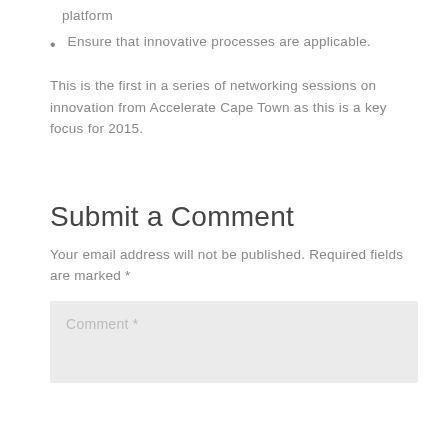platform
Ensure that innovative processes are applicable.
This is the first in a series of networking sessions on innovation from Accelerate Cape Town as this is a key focus for 2015.
Submit a Comment
Your email address will not be published. Required fields are marked *
Comment *